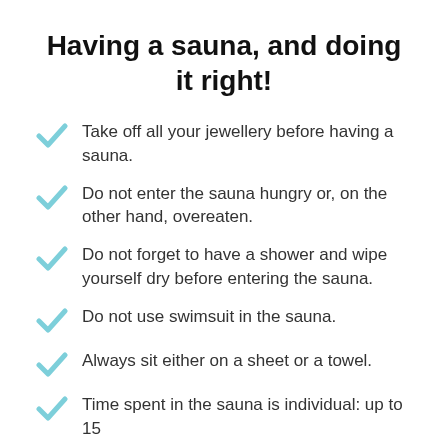Having a sauna, and doing it right!
Take off all your jewellery before having a sauna.
Do not enter the sauna hungry or, on the other hand, overeaten.
Do not forget to have a shower and wipe yourself dry before entering the sauna.
Do not use swimsuit in the sauna.
Always sit either on a sheet or a towel.
Time spent in the sauna is individual: up to 15